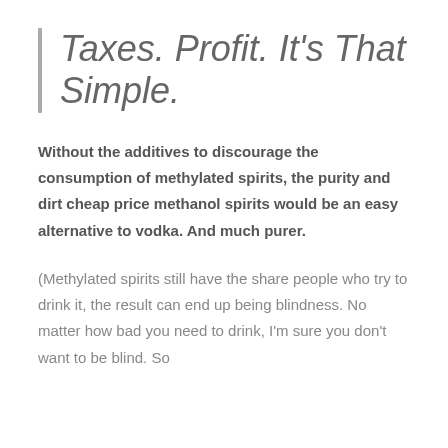Taxes. Profit. It's That Simple.
Without the additives to discourage the consumption of methylated spirits, the purity and dirt cheap price methanol spirits would be an easy alternative to vodka. And much purer.
(Methylated spirits still have the share people who try to drink it, the result can end up being blindness. No matter how bad you need to drink, I'm sure you don't want to be blind. So